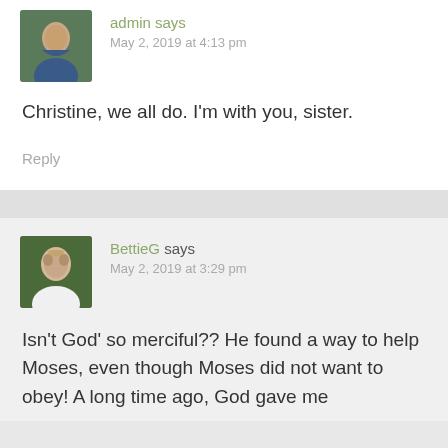admin says
May 2, 2019 at 4:13 pm
Christine, we all do. I'm with you, sister.
Reply
BettieG says
May 2, 2019 at 3:29 pm
Isn't God' so merciful?? He found a way to help Moses, even though Moses did not want to obey! A long time ago, God gave me